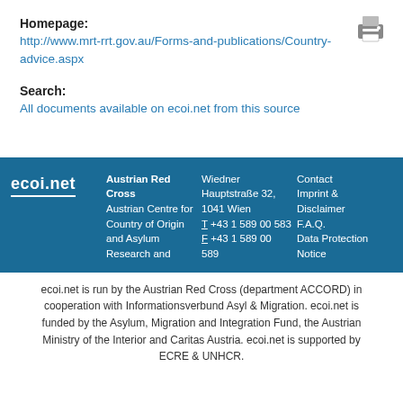Homepage:
http://www.mrt-rrt.gov.au/Forms-and-publications/Country-advice.aspx
Search:
All documents available on ecoi.net from this source
[Figure (other): Print icon (printer graphic) in top right corner]
ecoi.net | Austrian Red Cross
Austrian Centre for Country of Origin and Asylum Research and
Wiedner Hauptstraße 32, 1041 Wien
T +43 1 589 00 583
F +43 1 589 00 589
Contact
Imprint & Disclaimer
F.A.Q.
Data Protection Notice
ecoi.net is run by the Austrian Red Cross (department ACCORD) in cooperation with Informationsverbund Asyl & Migration. ecoi.net is funded by the Asylum, Migration and Integration Fund, the Austrian Ministry of the Interior and Caritas Austria. ecoi.net is supported by ECRE & UNHCR.